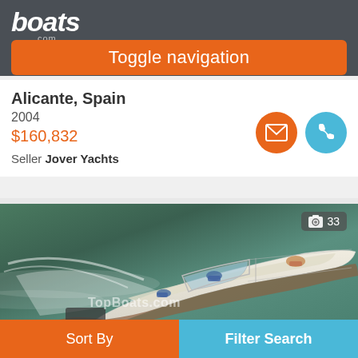boats.com
Toggle navigation
Alicante, Spain
2004
$160,832
Seller Jover Yachts
[Figure (photo): Aerial view of a white motorboat/yacht speeding through blue water with people on board. Photo watermark reads 'TopBoats.com'. Photo count badge shows camera icon and 33.]
Sort By
Filter Search